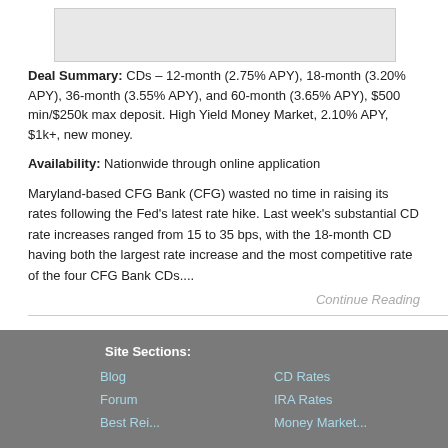[Figure (other): Image placeholder / banner graphic for article]
Deal Summary: CDs – 12-month (2.75% APY), 18-month (3.20% APY), 36-month (3.55% APY), and 60-month (3.65% APY), $500 min/$250k max deposit. High Yield Money Market, 2.10% APY, $1k+, new money.
Availability: Nationwide through online application
Maryland-based CFG Bank (CFG) wasted no time in raising its rates following the Fed's latest rate hike. Last week's substantial CD rate increases ranged from 15 to 35 bps, with the 18-month CD having both the largest rate increase and the most competitive rate of the four CFG Bank CDs....
Continue Reading
Load More...
Site Sections:
Blog
Forum
CD Rates
IRA Rates